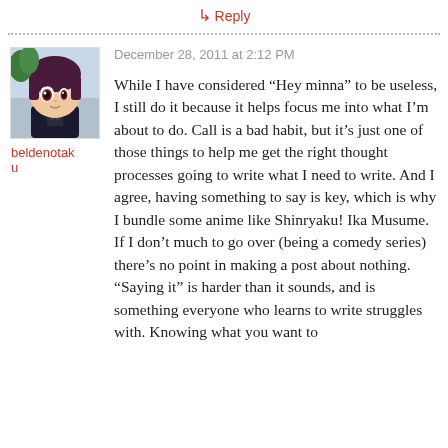↳ Reply
December 28, 2011 at 2:12 PM
[Figure (illustration): Anime-style avatar image of a character with dark purple hair against a light background, used as a commenter profile picture]
beldenotaku
While I have considered “Hey minna” to be useless, I still do it because it helps focus me into what I’m about to do. Call is a bad habit, but it’s just one of those things to help me get the right thought processes going to write what I need to write. And I agree, having something to say is key, which is why I bundle some anime like Shinryaku! Ika Musume. If I don’t much to go over (being a comedy series) there’s no point in making a post about nothing. “Saying it” is harder than it sounds, and is something everyone who learns to write struggles with. Knowing what you want to